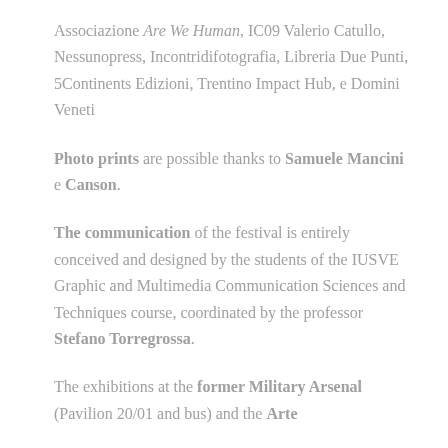Associazione Are We Human, IC09 Valerio Catullo, Nessunopress, Incontridifotografia, Libreria Due Punti, 5Continents Edizioni, Trentino Impact Hub, e Domini Veneti
Photo prints are possible thanks to Samuele Mancini e Canson.
The communication of the festival is entirely conceived and designed by the students of the IUSVE Graphic and Multimedia Communication Sciences and Techniques course, coordinated by the professor Stefano Torregrossa.
The exhibitions at the former Military Arsenal (Pavilion 20/01 and bus) and the Arte